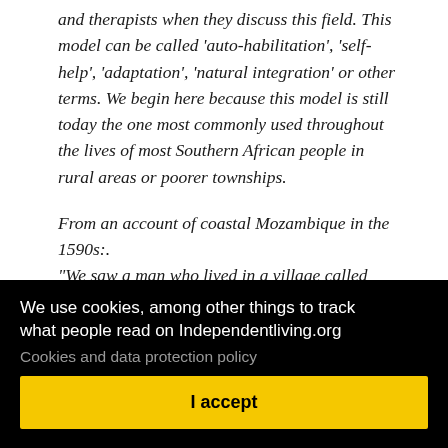and therapists when they discuss this field. This model can be called 'auto-habilitation', 'self-help', 'adaptation', 'natural integration' or other terms. We begin here because this model is still today the one most commonly used throughout the lives of most Southern African people in rural areas or poorer townships.
From an account of coastal Mozambique in the 1590s:. "We saw a man who lived in a village called Inhaguea, who was a cripple, born without a left arm, but nature,
owed
ot in
ilar,
two
aved
ill
[Figure (screenshot): Cookie consent overlay with black background. Text reads: 'We use cookies, among other things to track what people read on Independentliving.org' with a 'Cookies and data protection policy' link and a yellow 'I accept' button.]
times who lived in the town of Monte Mor o novo, named